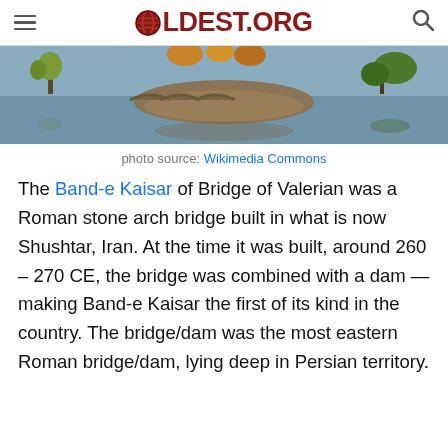OLDEST.ORG
[Figure (photo): Panoramic photo of Band-e Kaisar / Bridge of Valerian in Shushtar, Iran, showing the stone bridge structure with water reflection, trees, and earthen mounds.]
photo source: Wikimedia Commons
The Band-e Kaisar of Bridge of Valerian was a Roman stone arch bridge built in what is now Shushtar, Iran. At the time it was built, around 260 – 270 CE, the bridge was combined with a dam — making Band-e Kaisar the first of its kind in the country. The bridge/dam was the most eastern Roman bridge/dam, lying deep in Persian territory.